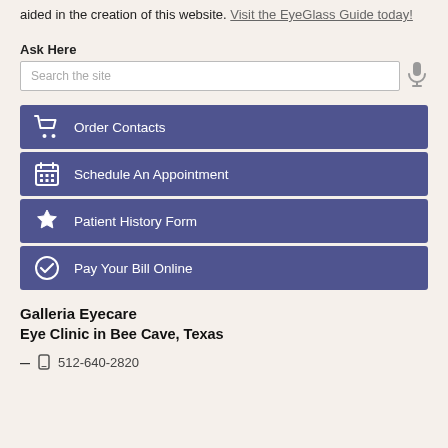aided in the creation of this website. Visit the EyeGlass Guide today!
Ask Here
[Figure (screenshot): Search bar with placeholder text 'Search the site' and a microphone icon]
Order Contacts
Schedule An Appointment
Patient History Form
Pay Your Bill Online
Galleria Eyecare
Eye Clinic in Bee Cave, Texas
512-640-2820